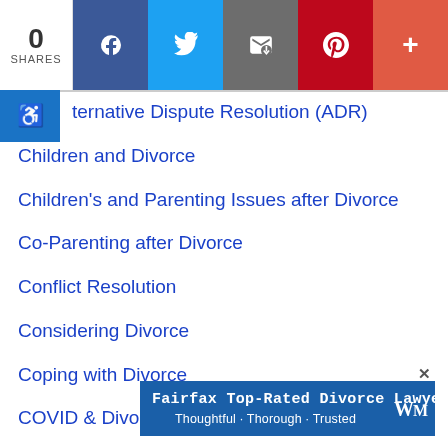0 SHARES | Facebook | Twitter | Email | Pinterest | +
Alternative Dispute Resolution (ADR)
Children and Divorce
Children's and Parenting Issues after Divorce
Co-Parenting after Divorce
Conflict Resolution
Considering Divorce
Coping with Divorce
COVID & Divorce
Divorce News
Divorce [partially obscured]
Divorce Recovery
[Figure (infographic): Ad banner: Fairfax Top-Rated Divorce Lawyer. Thoughtful · Thorough · Trusted. With WM logo and close button.]